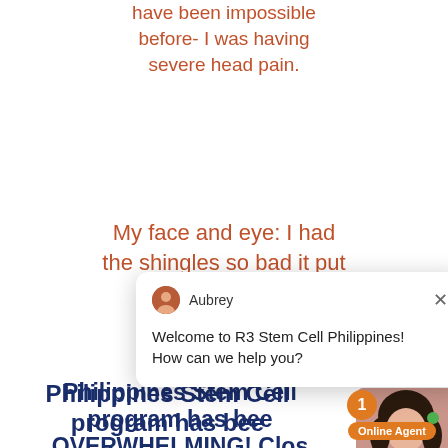have been impossible before- I was having severe head pain.
My face and eye: I had the shingles so bad it put
[Figure (screenshot): Chat widget from R3 Stem Cell Philippines showing agent Aubrey with message: Welcome to R3 Stem Cell Philippines! How can we help you? Notification badge showing 1 unread message. Online Agent label and photo of female agent.]
The Philippines stem cell program has been OVERWHELMING! Close to 50% of our patients are either repeats or